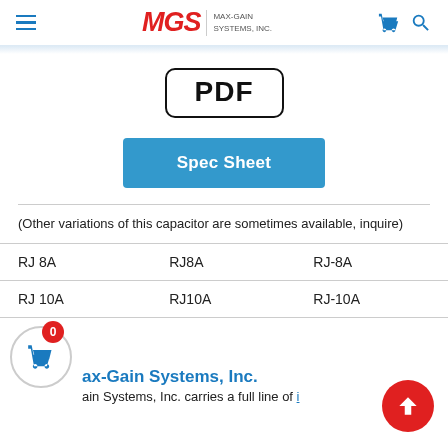MGS MAX-GAIN SYSTEMS, INC.
[Figure (other): PDF icon — rounded rectangle border with bold text 'PDF' inside]
[Figure (other): Blue 'Spec Sheet' button]
(Other variations of this capacitor are sometimes available, inquire)
| RJ 8A | RJ8A | RJ-8A |
| RJ 10A | RJ10A | RJ-10A |
Max-Gain Systems, Inc.
Max-Gain Systems, Inc. carries a full line of i...